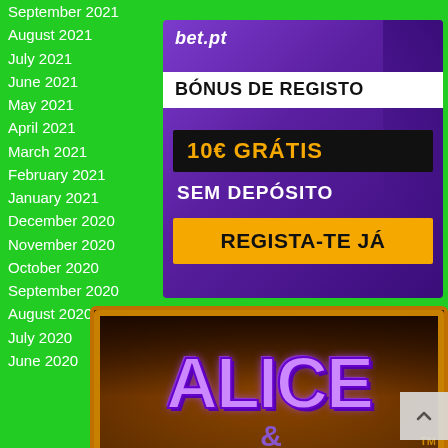September 2021
August 2021
July 2021
June 2021
May 2021
April 2021
March 2021
February 2021
January 2021
December 2020
November 2020
October 2020
September 2020
August 2020
July 2020
June 2020
[Figure (advertisement): bet.pt casino advertisement showing 'BÓNUS DE REGISTO 10€ GRÁTIS SEM DEPÓSITO REGISTA-TE JÁ' on purple and black background]
[Figure (screenshot): Alice slot game banner with large purple stylized 'ALICE' text on orange/dark background]